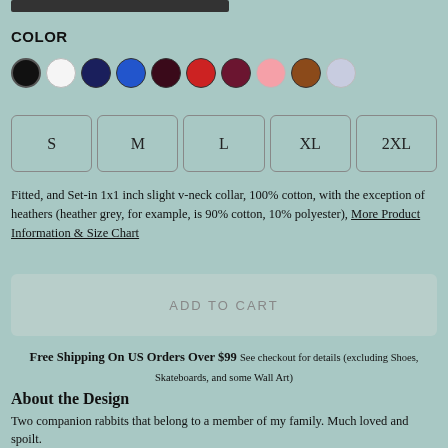[Figure (other): Dark top bar / button element at top of page]
COLOR
[Figure (other): Color swatches row: black (selected), white, navy, blue, dark red/black, red, maroon, pink, brown, lavender]
[Figure (other): Size selector buttons: S, M, L, XL, 2XL]
Fitted, and Set-in 1x1 inch slight v-neck collar, 100% cotton, with the exception of heathers (heather grey, for example, is 90% cotton, 10% polyester), More Product Information & Size Chart
[Figure (other): Add to cart button (grayed out)]
Free Shipping On US Orders Over $99 See checkout for details (excluding Shoes, Skateboards, and some Wall Art)
About the Design
Two companion rabbits that belong to a member of my family. Much loved and spoilt.